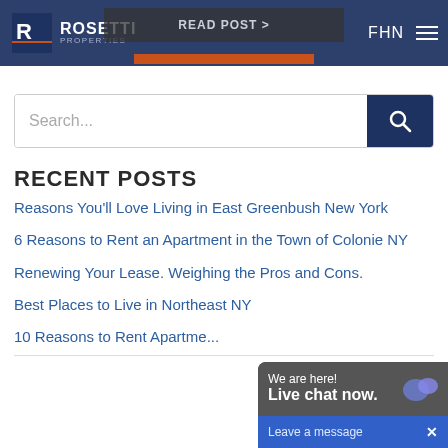ROSETTI PROPERTIES | READ POST > | FHN
[Figure (screenshot): Search bar with dark blue search button and magnifying glass icon]
RECENT POSTS
Reasons You'll Love Living in East Greenbush New York
6 Reasons to Rent an Apartment in the Town of Colonie NY
Renewing Your Lease. Weighing the Pros and Cons.
Best Places to Live in Northeast NY
10 Reasons to Rent Apartments...
[Figure (screenshot): Live chat widget overlay: 'We are here! Live chat now. Leave a message X']